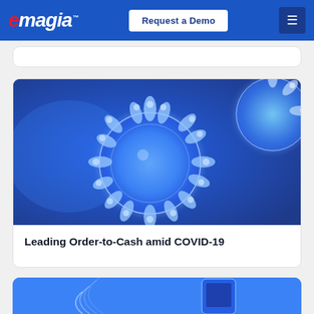eMagia™ — Request a Demo
[Figure (photo): Coronavirus particle 3D illustration on blue background, showing the characteristic spike proteins of COVID-19]
Leading Order-to-Cash amid COVID-19
[Figure (photo): Partial view of a mobile phone with blue background — bottom card partially visible]